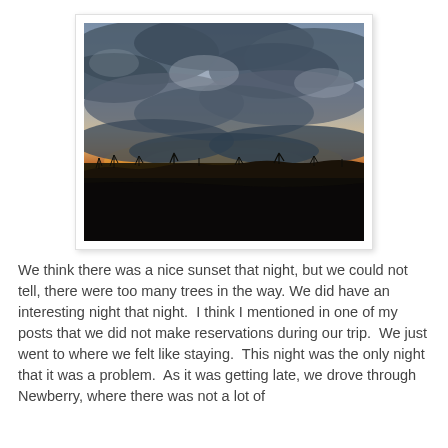[Figure (photo): Outdoor sunset photo showing dark silhouetted landscape foreground with flat fields and sparse trees along a horizon line. Above the horizon is a warm orange-yellow glow of sunset light. The sky is mostly covered with dramatic dark grey and blue-grey clouds with lighter patches breaking through near the top. The scene is taken from a moving vehicle or roadside at dusk.]
We think there was a nice sunset that night, but we could not tell, there were too many trees in the way. We did have an interesting night that night.  I think I mentioned in one of my posts that we did not make reservations during our trip.  We just went to where we felt like staying.  This night was the only night that it was a problem.  As it was getting late, we drove through Newberry, where there was not a lot of places to stay.  We drove 45 or so miles to Munising...